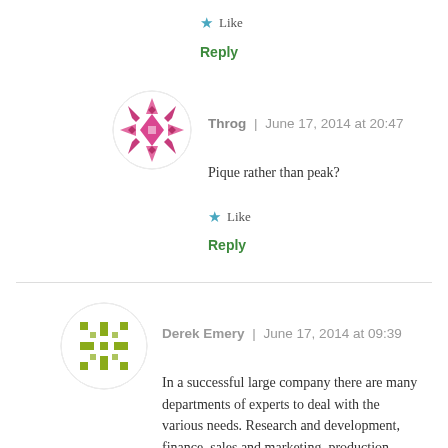★ Like
Reply
[Figure (illustration): Pink/magenta decorative avatar icon — geometric snowflake/quilt pattern in a circle for user Throg]
Throg | June 17, 2014 at 20:47
Pique rather than peak?
★ Like
Reply
[Figure (illustration): Olive/yellow-green decorative avatar icon — geometric snowflake/quilt pattern in a circle for user Derek Emery]
Derek Emery | June 17, 2014 at 09:39
In a successful large company there are many departments of experts to deal with the various needs. Research and development, finance, sales and marketing, production, planning, etc